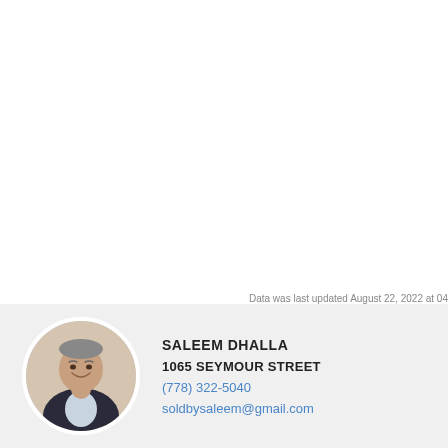Data was last updated August 22, 2022 at 04
[Figure (photo): Circular headshot photo of Saleem Dhalla, a middle-aged man in a dark jacket smiling]
SALEEM DHALLA
1065 SEYMOUR STREET
(778) 322-5040
soldbysaleem@gmail.com